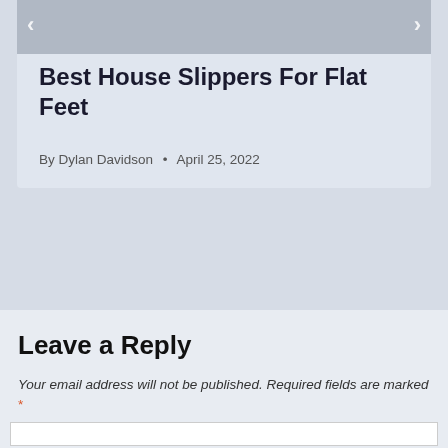Best House Slippers For Flat Feet
By Dylan Davidson • April 25, 2022
Leave a Reply
Your email address will not be published. Required fields are marked *